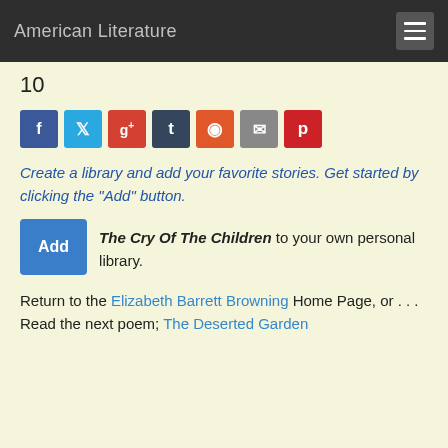American Literature
10
[Figure (infographic): Social share buttons: Facebook (blue), Twitter (light blue), Google+ (red-orange), Tumblr (dark blue), Reddit (orange-red), Email (grey), Pinterest (dark red)]
Create a library and add your favorite stories. Get started by clicking the "Add" button.
Add The Cry Of The Children to your own personal library.
Return to the Elizabeth Barrett Browning Home Page, or . . . Read the next poem; The Deserted Garden